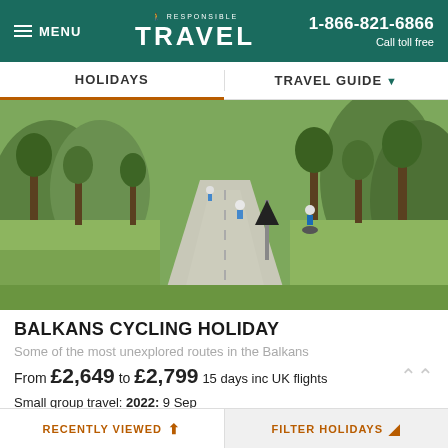MENU | RESPONSIBLE TRAVEL | 1-866-821-6866 Call toll free
HOLIDAYS | TRAVEL GUIDE
[Figure (photo): Cyclists riding along a rural road through green countryside in the Balkans, with trees on both sides and a road sign visible]
BALKANS CYCLING HOLIDAY
Some of the most unexplored routes in the Balkans
From £2,649 to £2,799 15 days inc UK flights
Small group travel: 2022: 9 Sep
2023: 28 Apr, 12 May, 26 May, 9 Jun, 23 Jun, 25 Aug, 8 Sep, 22 Sep
RECENTLY VIEWED | FILTER HOLIDAYS